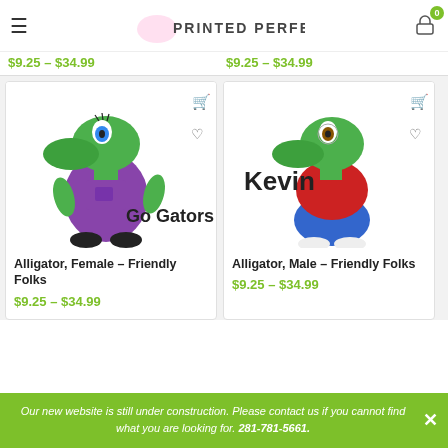Printed Perfection
$9.25 – $34.99 | $9.25 – $34.99
[Figure (illustration): Cartoon female alligator wearing purple overalls with text 'Go Gators']
Alligator, Female – Friendly Folks
$9.25 – $34.99
[Figure (illustration): Cartoon male alligator wearing red shirt and blue jeans with text 'Kevin']
Alligator, Male – Friendly Folks
$9.25 – $34.99
Our new website is still under construction. Please contact us if you cannot find what you are looking for. 281-781-5661.